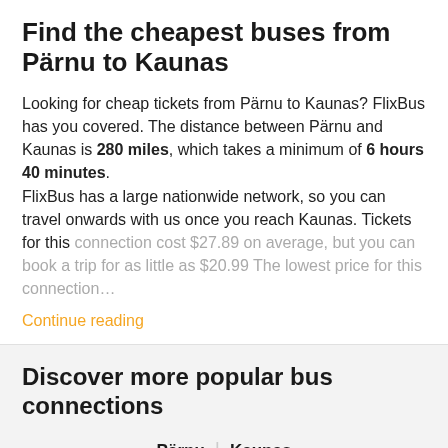Find the cheapest buses from Parnu to Kaunas
Looking for cheap tickets from Pärnu to Kaunas? FlixBus has you covered. The distance between Pärnu and Kaunas is 280 miles, which takes a minimum of 6 hours 40 minutes.
FlixBus has a large nationwide network, so you can travel onwards with us once you reach Kaunas. Tickets for this connection cost $27.89 on average, but you can book a trip for as little as $20.99 The lowest price for this connection…
Continue reading
Discover more popular bus connections
Pärnu | Kaunas